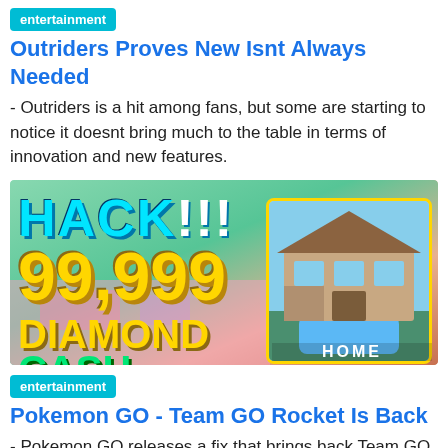Outriders Proves New Isnt Always Needed
- Outriders is a hit among fans, but some are starting to notice it doesnt bring much to the table in terms of innovation and new features.
[Figure (photo): Advertisement image showing 'HACK!!!' text in cyan, '99,999' in large yellow numbers, 'DIAMOND' in yellow bold text, 'CASH' in green text, over a colorful game background. On the right side, a house app icon with 'HOME' label.]
entertainment
Pokemon GO - Team GO Rocket Is Back
- Pokemon GO releases a fix that brings back Team GO Rocket encounters, as well as a free bundle to help trainers make up for the lost time.